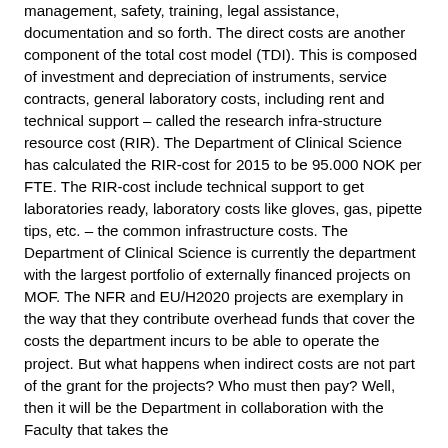management, safety, training, legal assistance, documentation and so forth. The direct costs are another component of the total cost model (TDI). This is composed of investment and depreciation of instruments, service contracts, general laboratory costs, including rent and technical support – called the research infra-structure resource cost (RIR). The Department of Clinical Science has calculated the RIR-cost for 2015 to be 95.000 NOK per FTE. The RIR-cost include technical support to get laboratories ready, laboratory costs like gloves, gas, pipette tips, etc. – the common infrastructure costs. The Department of Clinical Science is currently the department with the largest portfolio of externally financed projects on MOF. The NFR and EU/H2020 projects are exemplary in the way that they contribute overhead funds that cover the costs the department incurs to be able to operate the project. But what happens when indirect costs are not part of the grant for the projects? Who must then pay? Well, then it will be the Department in collaboration with the Faculty that takes the